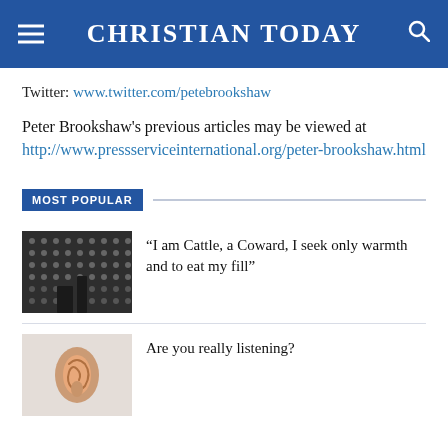CHRISTIAN TODAY
Twitter: www.twitter.com/petebrookshaw
Peter Brookshaw's previous articles may be viewed at http://www.pressserviceinternational.org/peter-brookshaw.html
MOST POPULAR
[Figure (photo): Dark grid of microphone panels, abstract background]
“I am Cattle, a Coward, I seek only warmth and to eat my fill”
[Figure (photo): Close-up photo of a human ear on light background]
Are you really listening?